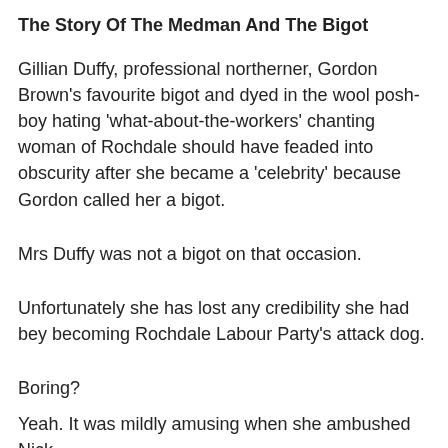The Story Of The Medman And The Bigot
Gillian Duffy, professional northerner, Gordon Brown's favourite bigot and dyed in the wool posh-boy hating 'what-about-the-workers' chanting woman of Rochdale should have feaded into obscurity after she became a 'celebrity' because Gordon called her a bigot.
Mrs Duffy was not a bigot on that occasion.
Unfortunately she has lost any credibility she had bey becoming Rochdale Labour Party's attack dog.
Boring?
Yeah. It was mildly amusing when she ambushed Nick